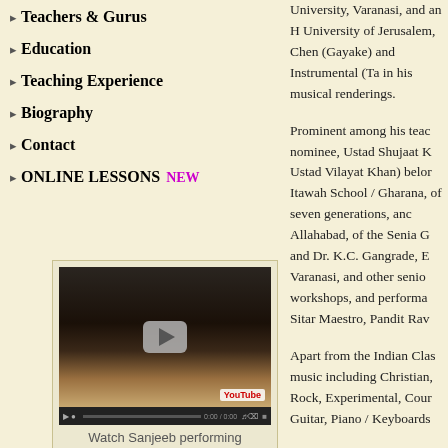▶ Teachers & Gurus
▶ Education
▶ Teaching Experience
▶ Biography
▶ Contact
▶ ONLINE LESSONS NEW
[Figure (screenshot): YouTube video thumbnail showing two musicians performing on stage, one with a sitar. Below is a caption 'Watch Sanjeeb performing' and a LIVE button.]
Watch Sanjeeb performing
University, Varanasi, and an H University of Jerusalem, Chen (Gayake) and Instrumental (Ta in his musical renderings.
Prominent among his teac nominee, Ustad Shujaat K Ustad Vilayat Khan) belor Itawah School / Gharana, of seven generations, anc Allahabad, of the Senia G and Dr. K.C. Gangrade, E Varanasi, and other senio workshops, and performa Sitar Maestro, Pandit Rav
Apart from the Indian Clas music including Christian, Rock, Experimental, Cour Guitar, Piano / Keyboards
A pioneer in using the Sit more than thirty five years